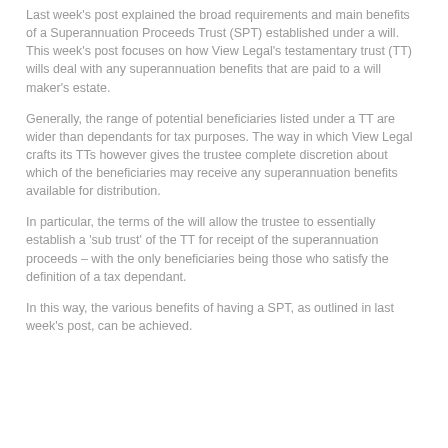Last week's post explained the broad requirements and main benefits of a Superannuation Proceeds Trust (SPT) established under a will. This week's post focuses on how View Legal's testamentary trust (TT) wills deal with any superannuation benefits that are paid to a will maker's estate.
Generally, the range of potential beneficiaries listed under a TT are wider than dependants for tax purposes. The way in which View Legal crafts its TTs however gives the trustee complete discretion about which of the beneficiaries may receive any superannuation benefits available for distribution.
In particular, the terms of the will allow the trustee to essentially establish a 'sub trust' of the TT for receipt of the superannuation proceeds – with the only beneficiaries being those who satisfy the definition of a tax dependant.
In this way, the various benefits of having a SPT, as outlined in last week's post, can be achieved.